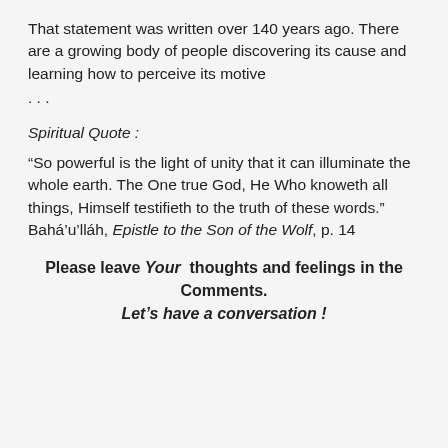That statement was written over 140 years ago. There are a growing body of people discovering its cause and learning how to perceive its motive . . .
Spiritual Quote :
“So powerful is the light of unity that it can illuminate the whole earth. The One true God, He Who knoweth all things, Himself testifieth to the truth of these words.”
Bahá’u’lláh, Epistle to the Son of the Wolf, p. 14
Please leave Your thoughts and feelings in the Comments.
Let’s have a conversation !